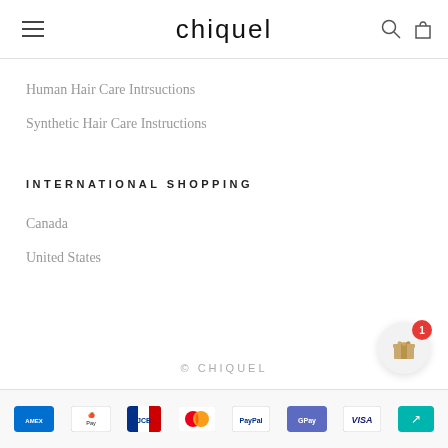chiquel
Human Hair Care Intrsuctions
Synthetic Hair Care Instructions
INTERNATIONAL SHOPPING
Canada
United States
© CHIQUEL